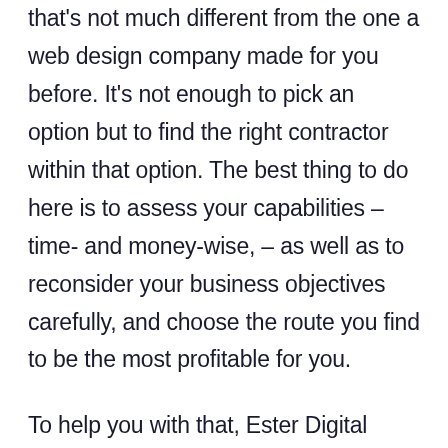that's not much different from the one a web design company made for you before. It's not enough to pick an option but to find the right contractor within that option. The best thing to do here is to assess your capabilities – time- and money-wise, – as well as to reconsider your business objectives carefully, and choose the route you find to be the most profitable for you.
To help you with that, Ester Digital provides a service called Creative Art Direction. It helps clients to get through a web design